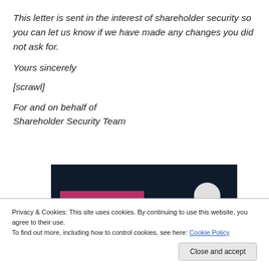This letter is sent in the interest of shareholder security so you can let us know if we have made any changes you did not ask for.
Yours sincerely
[scrawl]
For and on behalf of
Shareholder Security Team
[Figure (screenshot): Dark navy background image with a pink/magenta horizontal bar and a light grey circle on the right, partially visible at the bottom of the page.]
Privacy & Cookies: This site uses cookies. By continuing to use this website, you agree to their use.
To find out more, including how to control cookies, see here: Cookie Policy
Close and accept